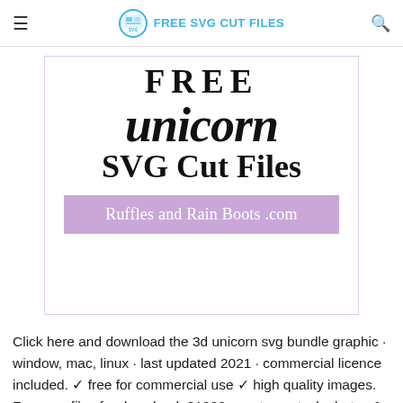FREE SVG CUT FILES
[Figure (illustration): Decorative text graphic showing 'FREE unicorn SVG Cut Files' in mixed serif and script lettering with a purple banner reading 'Ruffles and Rain Boots .com', inside a light purple border box.]
Click here and download the 3d unicorn svg bundle graphic · window, mac, linux · last updated 2021 · commercial licence included. ✓ free for commercial use ✓ high quality images. Free svg files for download. 21000+ vectors, stock photos & psd files.